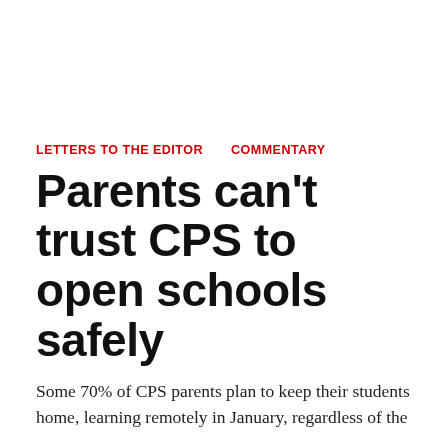LETTERS TO THE EDITOR   COMMENTARY
Parents can't trust CPS to open schools safely
Some 70% of CPS parents plan to keep their students home, learning remotely in January, regardless of the